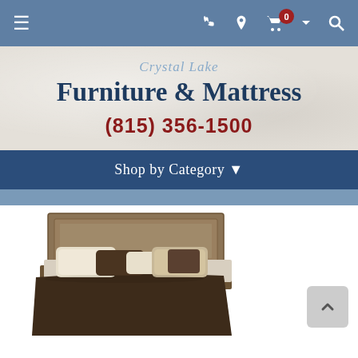Navigation bar with hamburger menu, phone icon, location icon, cart (0), dropdown arrow, and search icon
Crystal Lake
Furniture & Mattress
(815) 356-1500
Shop by Category ▾
[Figure (photo): Photo of a wooden bed headboard with multiple decorative pillows in neutral tones (cream, tan, dark brown), partially visible at the bottom of the page]